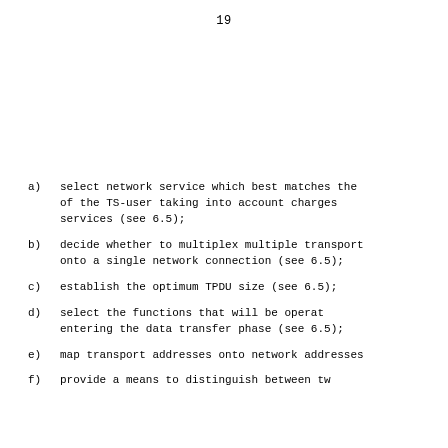19
a)  select network service which best matches the of the TS-user taking into account charges services (see 6.5);
b)  decide whether to multiplex multiple transport onto a single network connection (see 6.5);
c)  establish the optimum TPDU size (see 6.5);
d)  select the functions that will be operat entering the data transfer phase (see 6.5);
e)  map transport addresses onto network addresses
f)  provide a  means  to  distinguish  between  tw